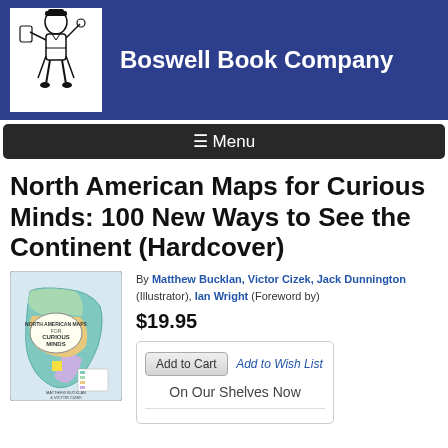Boswell Book Company
☰ Menu
North American Maps for Curious Minds: 100 New Ways to See the Continent (Hardcover)
[Figure (illustration): Book cover showing North American Maps for Curious Minds with a colorful map of North America]
By Matthew Bucklan, Victor Cizek, Jack Dunnington (Illustrator), Ian Wright (Foreword by)
$19.95
Add to Cart  Add to Wish List
On Our Shelves Now